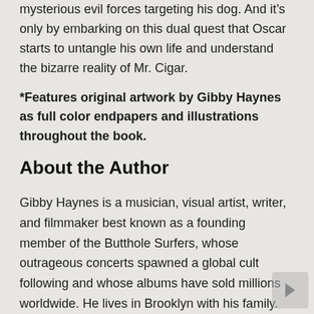mysterious evil forces targeting his dog. And it’s only by embarking on this dual quest that Oscar starts to untangle his own life and understand the bizarre reality of Mr. Cigar.
*Features original artwork by Gibby Haynes as full color endpapers and illustrations throughout the book.
About the Author
Gibby Haynes is a musician, visual artist, writer, and filmmaker best known as a founding member of the Butthole Surfers, whose outrageous concerts spawned a global cult following and whose albums have sold millions worldwide. He lives in Brooklyn with his family. Me & Mr. Cigar is his first novel.
Praise For...